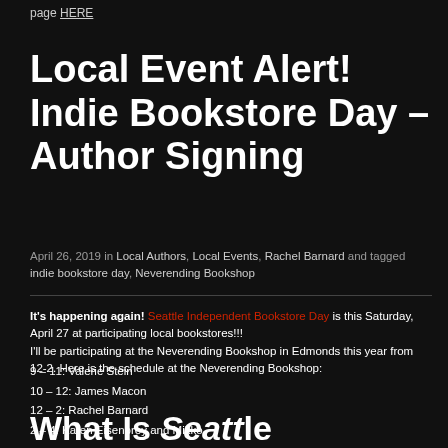page HERE
Local Event Alert! Indie Bookstore Day – Author Signing
April 26, 2019 in Local Authors, Local Events, Rachel Barnard and tagged indie bookstore day, Neverending Bookshop
It's happening again! Seattle Independent Bookstore Day is this Saturday, April 27 at participating local bookstores!!!
I'll be participating at the Neverending Bookshop in Edmonds this year from 12-2. Here is the schedule at the Neverending Bookshop:
9 – 11: Valerie Stein
10 – 12: James Macon
12 – 2: Rachel Barnard
2 – 4: Karen Eisenbrey and Mikko
What Is Seattle Independent Bookstore